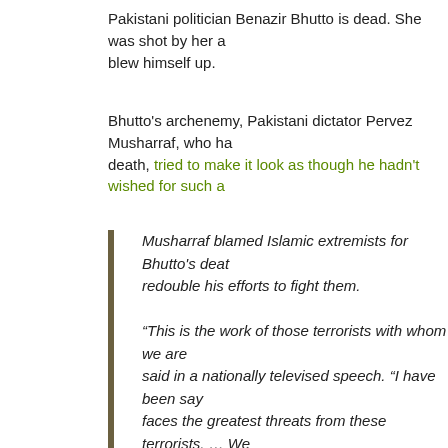Pakistani politician Benazir Bhutto is dead. She was shot by her a blew himself up.
Bhutto's archenemy, Pakistani dictator Pervez Musharraf, who ha death, tried to make it look as though he hadn't wished for such a
Musharraf blamed Islamic extremists for Bhutto's deat redouble his efforts to fight them.
“This is the work of those terrorists with whom we are said in a nationally televised speech. “I have been say faces the greatest threats from these terrorists. … We eliminate these terrorists and root them out.”
Right, right, right. “Terrorists.” Gotcha. Anything bad happens, it’s
Isn’t it weird how the terrorists’ are so kean to assassinate a politi who may or may not have had a shot at the presidency? Especial currently occupied by a secular militant Bush-crony who hated Bh
Hmmm....
Meanwhile, our esteemed president was quick to blame teh terr’n